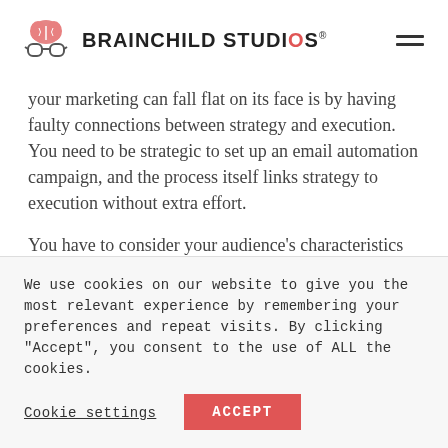BRAINCHILD STUDIOS
your marketing can fall flat on its face is by having faulty connections between strategy and execution. You need to be strategic to set up an email automation campaign, and the process itself links strategy to execution without extra effort.
You have to consider your audience's characteristics and behaviors to define segments.
We use cookies on our website to give you the most relevant experience by remembering your preferences and repeat visits. By clicking “Accept”, you consent to the use of ALL the cookies.
Cookie settings
ACCEPT